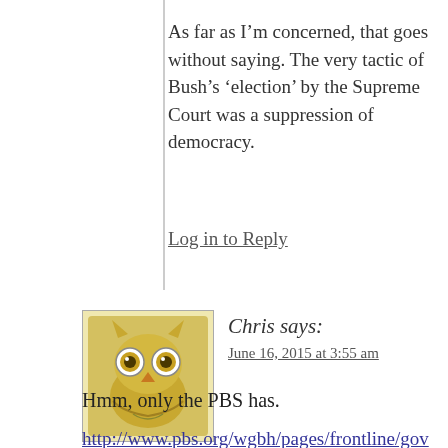As far as I'm concerned, that goes without saying. The very tactic of Bush's 'election' by the Supreme Court was a suppression of democracy.
Log in to Reply
Chris says:
June 16, 2015 at 3:55 am
Hmm, only the PBS has.
http://www.pbs.org/wgbh/pages/frontline/government-elections-politics/secrets-politics-